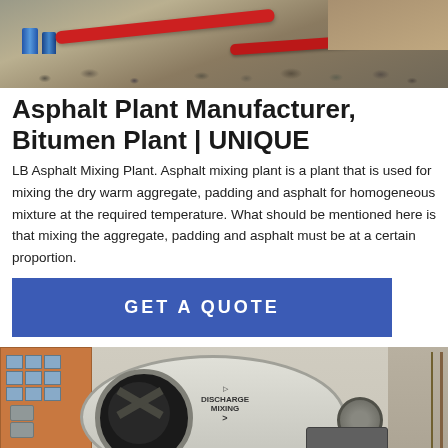[Figure (photo): Construction site with gravel, red pipes, and blue cans/containers on the ground]
Asphalt Plant Manufacturer, Bitumen Plant | UNIQUE
LB Asphalt Mixing Plant. Asphalt mixing plant is a plant that is used for mixing the dry warm aggregate, padding and asphalt for homogeneous mixture at the required temperature. What should be mentioned here is that mixing the aggregate, padding and asphalt must be at a certain proportion.
[Figure (other): GET A QUOTE button - blue rectangular button]
[Figure (photo): Large white concrete/asphalt mixing machine with DISCHARGE MIXING label, building in background, parked outside]
[Figure (other): Bottom bar with Send Message and Inquiry Online buttons]